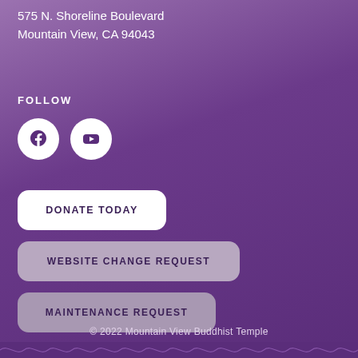575 N. Shoreline Boulevard
Mountain View, CA 94043
FOLLOW
[Figure (illustration): Facebook and YouTube social media icon circles (white circles with purple icons)]
DONATE TODAY
WEBSITE CHANGE REQUEST
MAINTENANCE REQUEST
© 2022 Mountain View Buddhist Temple